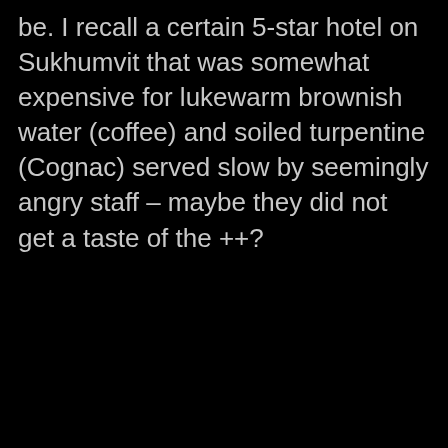be. I recall a certain 5-star hotel on Sukhumvit that was somewhat expensive for lukewarm brownish water (coffee) and soiled turpentine (Cognac) served slow by seemingly angry staff – maybe they did not get a taste of the ++?